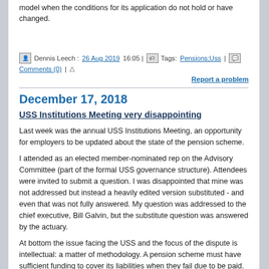model when the conditions for its application do not hold or have changed.
Dennis Leech : 26 Aug 2019 16:05 | Tags: Pensions;Uss | Comments (0) | Report a problem
December 17, 2018
USS Institutions Meeting very disappointing
Last week was the annual USS Institutions Meeting, an opportunity for employers to be updated about the state of the pension scheme.
I attended as an elected member-nominated rep on the Advisory Committee (part of the formal USS governance structure). Attendees were invited to submit a question. I was disappointed that mine was not addressed but instead a heavily edited version substituted - and even that was not fully answered. My question was addressed to the chief executive, Bill Galvin, but the substitute question was answered by the actuary.
At bottom the issue facing the USS and the focus of the dispute is intellectual: a matter of methodology. A pension scheme must have sufficient funding to cover its liabilities when they fail due to be paid. That is obvious but there are different ways of assessing a scheme's ability to fund its pension payments over the years. However the law only requires